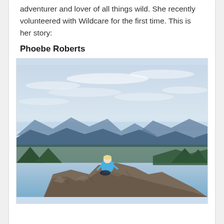adventurer and lover of all things wild. She recently volunteered with Wildcare for the first time. This is her story:
Phoebe Roberts
[Figure (photo): A person in a blue shirt sitting on a rocky mountain summit with a sweeping panoramic view of blue mountain ranges, forests, and a partly cloudy sky behind them.]